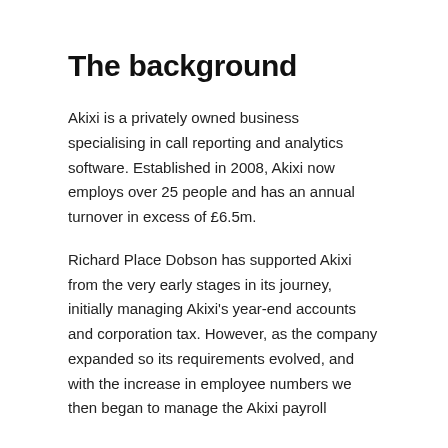The background
Akixi is a privately owned business specialising in call reporting and analytics software. Established in 2008, Akixi now employs over 25 people and has an annual turnover in excess of £6.5m.
Richard Place Dobson has supported Akixi from the very early stages in its journey, initially managing Akixi's year-end accounts and corporation tax. However, as the company expanded so its requirements evolved, and with the increase in employee numbers we then began to manage the Akixi payroll